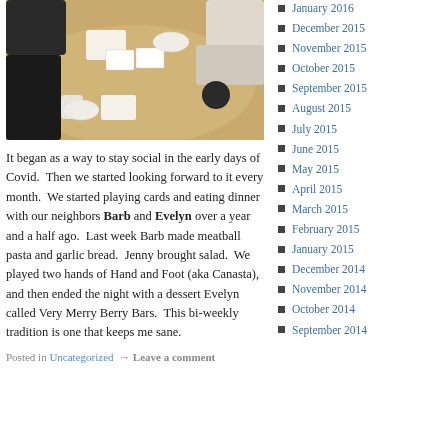[Figure (photo): Overhead view of people sitting around a wooden table playing cards and eating, with mugs and plates visible.]
It began as a way to stay social in the early days of Covid.  Then we started looking forward to it every month.  We started playing cards and eating dinner with our neighbors Barb and Evelyn over a year and a half ago.  Last week Barb made meatball pasta and garlic bread.  Jenny brought salad.  We played two hands of Hand and Foot (aka Canasta), and then ended the night with a dessert Evelyn called Very Merry Berry Bars.  This bi-weekly tradition is one that keeps me sane.
Posted in Uncategorized  → Leave a comment
January 2016
December 2015
November 2015
October 2015
September 2015
August 2015
July 2015
June 2015
May 2015
April 2015
March 2015
February 2015
January 2015
December 2014
November 2014
October 2014
September 2014